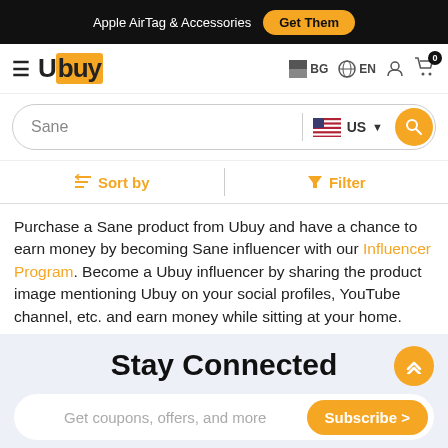Apple AirTag & Accessories  Get Them
[Figure (logo): Ubuy logo with hamburger menu, country selector BG, language EN, user icon, and cart with badge 0]
[Figure (screenshot): Search bar with text 'Sane', US flag country selector, and orange search button]
Sort by   Filter
Purchase a Sane product from Ubuy and have a chance to earn money by becoming Sane influencer with our Influencer Program. Become a Ubuy influencer by sharing the product image mentioning Ubuy on your social profiles, YouTube channel, etc. and earn money while sitting at your home.
Stay Connected
Get coupons, offers, and more   Subscribe >